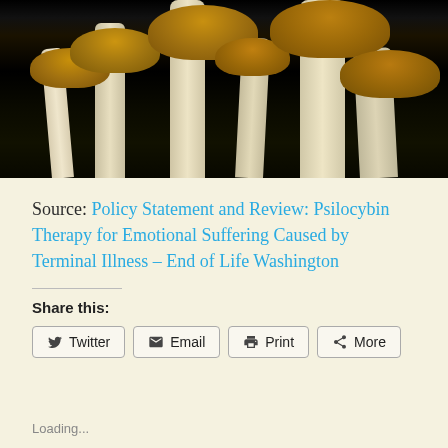[Figure (photo): Close-up photograph of several psilocybin mushrooms with brown caps and white stems against a dark/black background]
Source: Policy Statement and Review: Psilocybin Therapy for Emotional Suffering Caused by Terminal Illness – End of Life Washington
Share this:
Twitter
Email
Print
More
Loading...